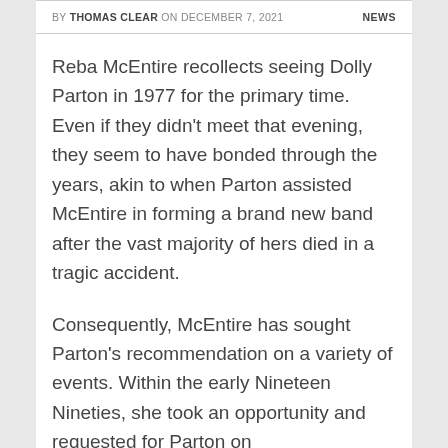BY THOMAS CLEAR ON DECEMBER 7, 2021   NEWS
Reba McEntire recollects seeing Dolly Parton in 1977 for the primary time. Even if they didn't meet that evening, they seem to have bonded through the years, akin to when Parton assisted McEntire in forming a brand new band after the vast majority of hers died in a tragic accident.
Consequently, McEntire has sought Parton's recommendation on a variety of events. Within the early Nineteen Nineties, she took an opportunity and requested for Parton on